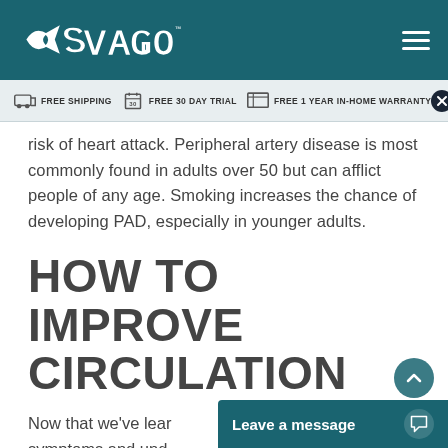SVAGO
FREE SHIPPING   FREE 30 DAY TRIAL   FREE 1 YEAR IN-HOME WARRANTY
risk of heart attack. Peripheral artery disease is most commonly found in adults over 50 but can afflict people of any age. Smoking increases the chance of developing PAD, especially in younger adults.
HOW TO IMPROVE CIRCULATION
Now that we've learned about the symptoms and und